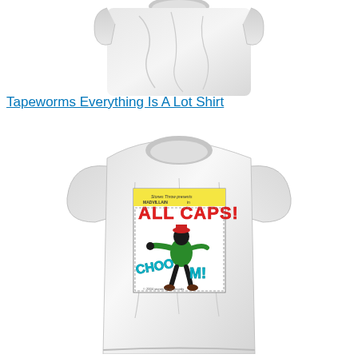[Figure (photo): Top portion of a white/light grey t-shirt, showing the collar and folded body area, cropped.]
Tapeworms Everything Is A Lot Shirt
[Figure (photo): White t-shirt with a comic book style graphic print featuring a green-suited character with a red hat, text reading 'ALL CAPS!' in red/yellow, and 'CHOOM!' in teal/blue, styled as vintage comic book cover art by MF DOOM / Mad Villain.]